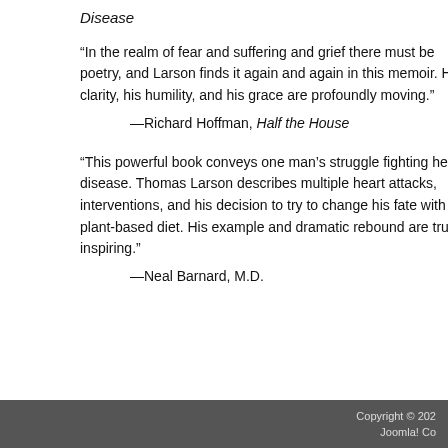Disease
“In the realm of fear and suffering and grief there must be poetry, and Larson finds it again and again in this memoir. His clarity, his humility, and his grace are profoundly moving.”
—Richard Hoffman, Half the House
“This powerful book conveys one man’s struggle fighting heart disease. Thomas Larson describes multiple heart attacks, interventions, and his decision to try to change his fate with a plant-based diet. His example and dramatic rebound are truly inspiring.”
—Neal Barnard, M.D.
Copyright © 202  Joomla! Co